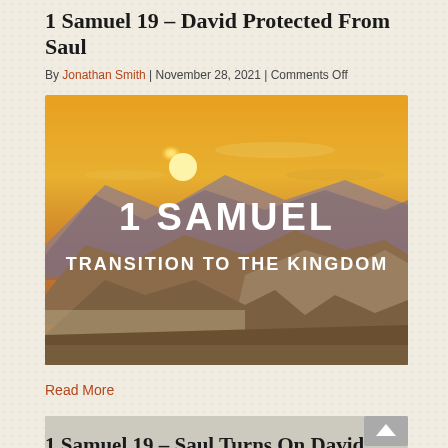1 Samuel 19 – David Protected From Saul
By Jonathan Smith | November 28, 2021 | Comments Off
[Figure (photo): Mountain landscape at sunset with warm golden-orange sky and layered mountain ridges. White text overlaid reads '1 SAMUEL' in large bold letters and 'TRANSITION TO THE KINGDOM' below it.]
Read More
[Figure (photo): Partial view of a second article image, gray/beige background with a scroll-to-top button (upward arrow) on the right side.]
1 Samuel 19 – Saul Turns On David